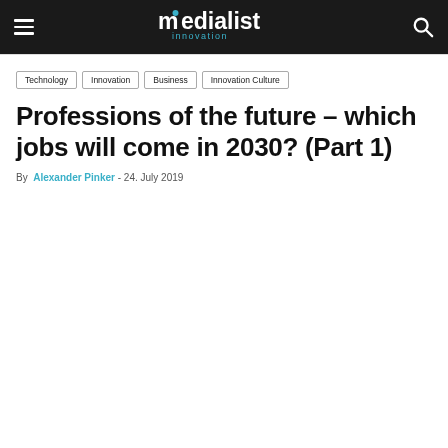Medialist Innovation [site header with hamburger menu and search icon]
Technology
Innovation
Business
Innovation Culture
Professions of the future – which jobs will come in 2030? (Part 1)
By Alexander Pinker - 24. July 2019